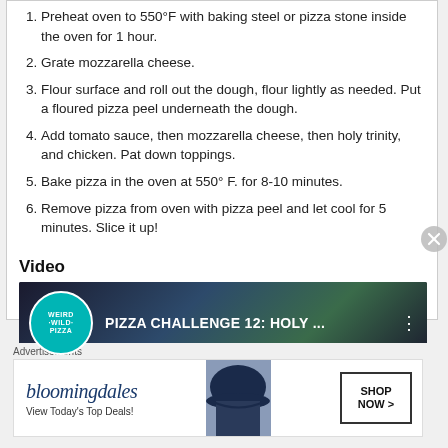1. Preheat oven to 550°F with baking steel or pizza stone inside the oven for 1 hour.
2. Grate mozzarella cheese.
3. Flour surface and roll out the dough, flour lightly as needed. Put a floured pizza peel underneath the dough.
4. Add tomato sauce, then mozzarella cheese, then holy trinity, and chicken. Pat down toppings.
5. Bake pizza in the oven at 550° F. for 8-10 minutes.
6. Remove pizza from oven with pizza peel and let cool for 5 minutes. Slice it up!
Video
[Figure (screenshot): Video thumbnail showing 'WEIRD WILD PIZZA' badge on left and title 'PIZZA CHALLENGE 12: HOLY...' in white text on dark background]
Advertisements
[Figure (illustration): Bloomingdale's advertisement with logo, 'View Today's Top Deals!' text, woman in hat image, and 'SHOP NOW >' button]